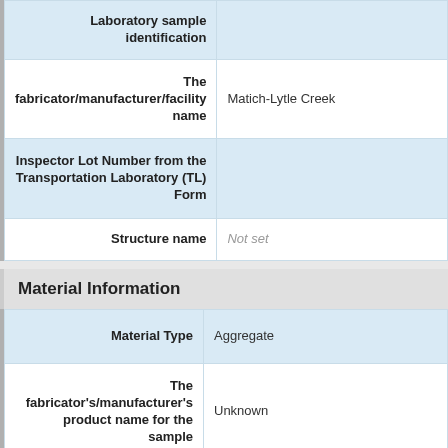| Field | Value |
| --- | --- |
| Laboratory sample identification |  |
| The fabricator/manufacturer/facility name | Matich-Lytle Creek |
| Inspector Lot Number from the Transportation Laboratory (TL) Form |  |
| Structure name | Not set |
Material Information
| Field | Value |
| --- | --- |
| Material Type | Aggregate |
| The fabricator's/manufacturer's product name for the sample | Unknown |